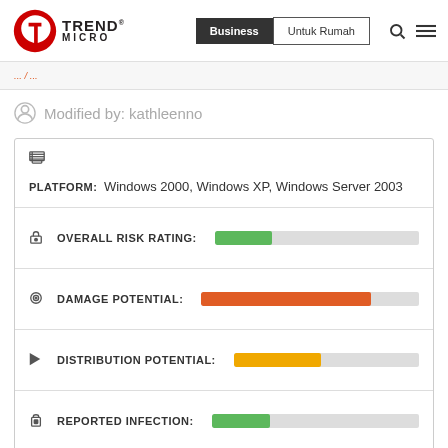Trend Micro | Business | Untuk Rumah
Modified by: kathleenno
| Field | Value |
| --- | --- |
| PLATFORM: | Windows 2000, Windows XP, Windows Server 2003 |
| OVERALL RISK RATING: | Low |
| DAMAGE POTENTIAL: | High |
| DISTRIBUTION POTENTIAL: | Medium |
| REPORTED INFECTION: | Low |
Low | Medium | High | Critical